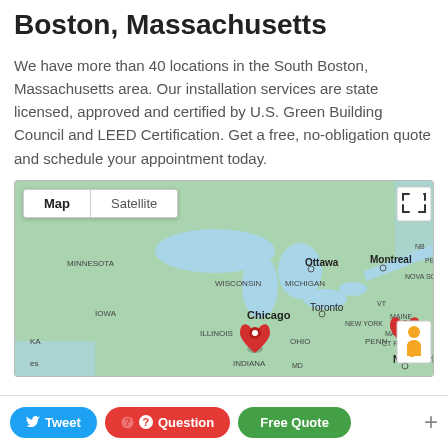Boston, Massachusetts
We have more than 40 locations in the South Boston, Massachusetts area. Our installation services are state licensed, approved and certified by U.S. Green Building Council and LEED Certification. Get a free, no-obligation quote and schedule your appointment today.
[Figure (map): Google Map showing northeastern United States and southeastern Canada with red map pins on Chicago and Boston (South Boston, MA) areas. Map/Satellite toggle buttons visible, fullscreen icon, and street view person icon.]